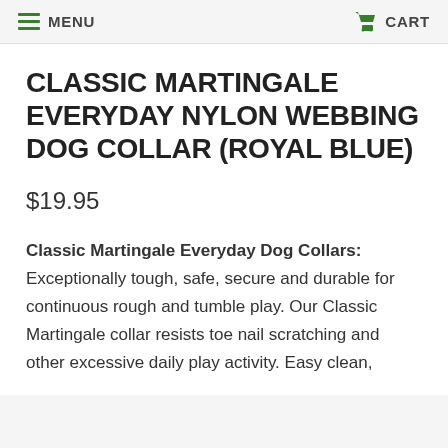MENU  CART
CLASSIC MARTINGALE EVERYDAY NYLON WEBBING DOG COLLAR (ROYAL BLUE)
$19.95
Classic Martingale Everyday Dog Collars:  Exceptionally tough, safe, secure and durable for continuous rough and tumble play. Our Classic Martingale collar resists toe nail scratching and other excessive daily play activity. Easy clean,